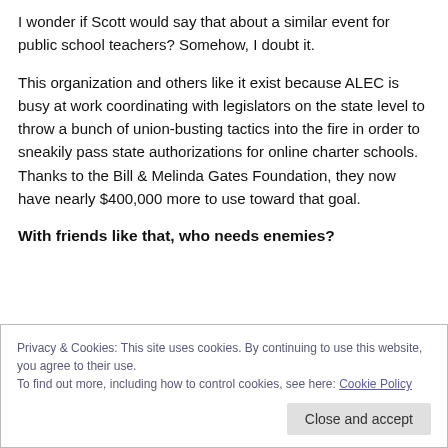I wonder if Scott would say that about a similar event for public school teachers? Somehow, I doubt it.
This organization and others like it exist because ALEC is busy at work coordinating with legislators on the state level to throw a bunch of union-busting tactics into the fire in order to sneakily pass state authorizations for online charter schools. Thanks to the Bill & Melinda Gates Foundation, they now have nearly $400,000 more to use toward that goal.
With friends like that, who needs enemies?
Privacy & Cookies: This site uses cookies. By continuing to use this website, you agree to their use.
To find out more, including how to control cookies, see here: Cookie Policy